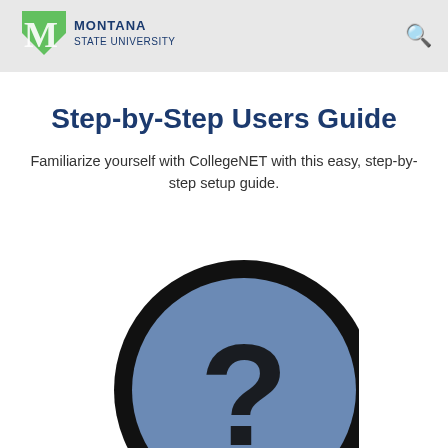Montana State University
Step-by-Step Users Guide
Familiarize yourself with CollegeNET with this easy, step-by-step setup guide.
[Figure (illustration): A large circular icon with a dark border, blue-grey fill, and a black question mark symbol in the center.]